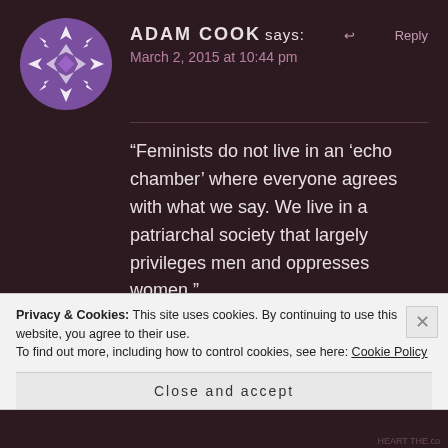[Figure (illustration): Purple circular avatar with geometric star/snowflake pattern in white and purple tones]
ADAM COOK says:
March 2, 2015 at 10:44 pm
“Feminists do not live in an ‘echo chamber’ where everyone agrees with what we say. We live in a patriarchal society that largely privileges men and oppresses women.”
I completely agree. I would never suggest feminists in general live in an
Privacy & Cookies: This site uses cookies. By continuing to use this website, you agree to their use.
To find out more, including how to control cookies, see here: Cookie Policy
Close and accept